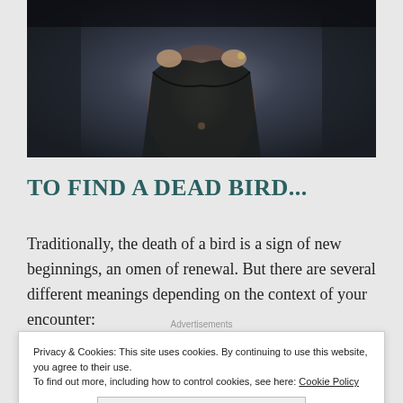[Figure (photo): Partial view of a person lifting their shirt in a dark, moody setting with stone or dark background.]
TO FIND A DEAD BIRD...
Traditionally, the death of a bird is a sign of new beginnings, an omen of renewal. But there are several different meanings depending on the context of your encounter:
Privacy & Cookies: This site uses cookies. By continuing to use this website, you agree to their use.
To find out more, including how to control cookies, see here: Cookie Policy
Close and accept
you are about to encounter an obstacle in your life